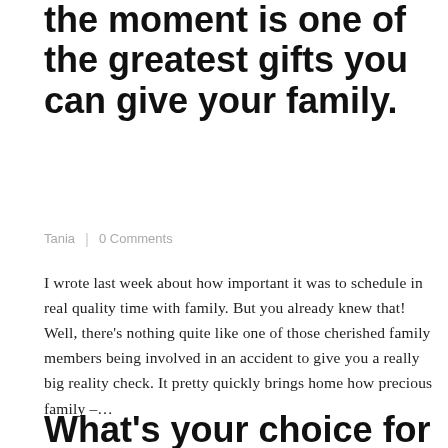the moment is one of the greatest gifts you can give your family.
Tania | 0 Comments
I wrote last week about how important it was to schedule in real quality time with family. But you already knew that! Well, there's nothing quite like one of those cherished family members being involved in an accident to give you a really big reality check. It pretty quickly brings home how precious family –…
Continue Reading →
What's your choice for the